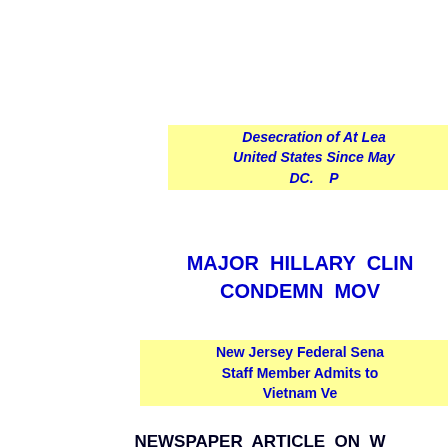Desecration of At Lea... United States Since May... DC.    P...
MAJOR HILLARY CLIN... CONDEMN MOV...
New Jersey Federal Sena... Staff Member Admits to... Vietnam Ve...
NEWSPAPER ARTICLE ON W... MARIN...
http://www.americans-w...